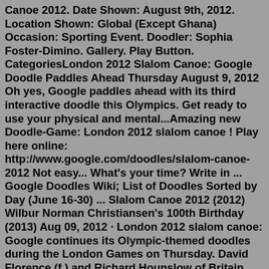Canoe 2012. Date Shown: August 9th, 2012. Location Shown: Global (Except Ghana) Occasion: Sporting Event. Doodler: Sophia Foster-Dimino. Gallery. Play Button. CategoriesLondon 2012 Slalom Canoe: Google Doodle Paddles Ahead Thursday August 9, 2012 Oh yes, Google paddles ahead with its third interactive doodle this Olympics. Get ready to use your physical and mental...Amazing new Doodle-Game: London 2012 slalom canoe ! Play here online: http://www.google.com/doodles/slalom-canoe-2012 Not easy... What's your time? Write in ... Google Doodles Wiki; List of Doodles Sorted by Day (June 16-30) ... Slalom Canoe 2012 (2012) Wilbur Norman Christiansen's 100th Birthday (2013) Aug 09, 2012 · London 2012 slalom canoe: Google continues its Olympic-themed doodles during the London Games on Thursday. David Florence (f.) and Richard Hounslow of Britain compete in the semifinal of the C-2 ... Aug 09, 2012 · It's time to pound the arrow keys again for Mountain View's latest Olympic doodle game, a whitewater slalom canoe challenge. The idea